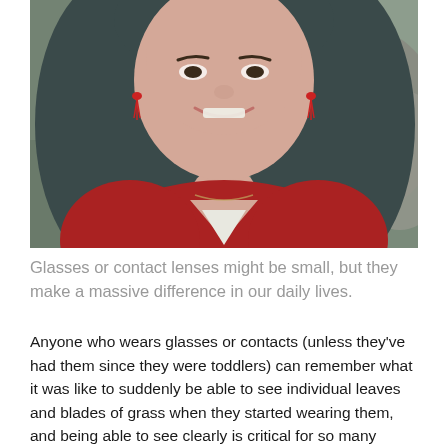[Figure (photo): A young woman with long dark teal/gray hair, wearing a red knitted cardigan and red tassel earrings, smiling against a blurred rocky/nature background. Photo is a close-up portrait.]
Glasses or contact lenses might be small, but they make a massive difference in our daily lives.
Anyone who wears glasses or contacts (unless they've had them since they were toddlers) can remember what it was like to suddenly be able to see individual leaves and blades of grass when they started wearing them, and being able to see clearly is critical for so many things we do every day. That's why taking good care of